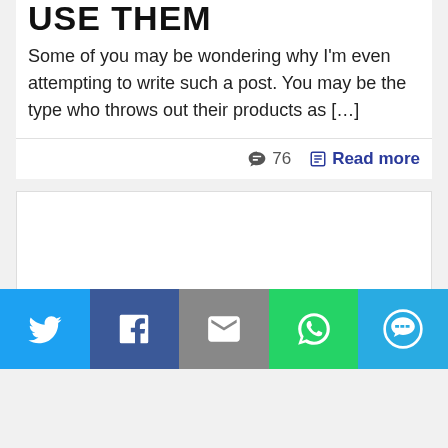USE THEM
Some of you may be wondering why I'm even attempting to write such a post. You may be the type who throws out their products as […]
76  Read more
[Figure (other): White blank image card placeholder]
[Figure (infographic): Social share bar with Twitter, Facebook, Email, WhatsApp, SMS icons]